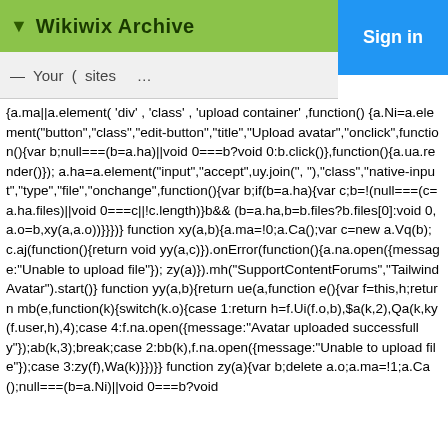Wikiwix Archive
Sign in
— Your ( sites ... Sign in
{a.ma||a.element('div','class','upload-container',function(){a.Ni=a.element("button","class","edit-button","title","Upload avatar","onclick",function(){var b;null===(b=a.ha)||void 0===b?void 0:b.click()},function(){a.ua.render()});a.ha=a.element("input","accept",uy.join(", "),"class","native-input","type","file","onchange",function(){var b;if(b=a.ha){var c;b=!(null===(c=a.ha.files)||void 0===c||!c.length)b&&(b=a.ha,b=b.files?b.files[0]:void 0,a.o=b,xy(a,a.o))}}})} function xy(a,b){a.ma=!0;a.Ca();var c=new a.Vq(b);c.aj(function(){return void yy(a,c)}).onError(function(){a.na.open({message:"Unable to upload file"});zy(a)}).mh("SupportContentForums","TailwindAvatar").start()} function yy(a,b){return ue(a,function e(){var f=this,h;return mb(e,function(k){switch(k.o){case 1:return h=f.Ui(f.o,b),$a(k,2),Qa(k,ky(f.user,h),4);case 4:f.na.open({message:"Avatar uploaded successfully"});ab(k,3);break;case 2:bb(k),f.na.open({message:"Unable to upload file"});case 3:zy(f),Wa(k)}})}} function zy(a){var b;delete a.o;a.ma=!1;a.Ca();null===(b=a.Ni)||void 0===b?void 0